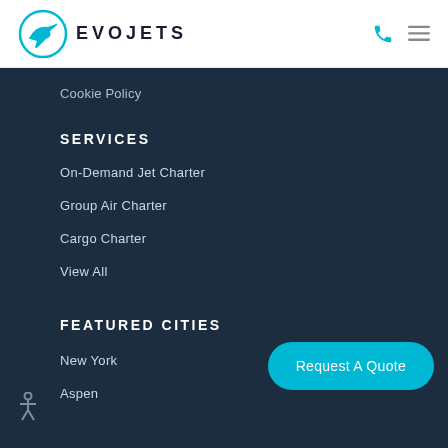[Figure (logo): EvoJets logo with a plane icon and the text EVOJETS]
Cookie Policy
SERVICES
On-Demand Jet Charter
Group Air Charter
Cargo Charter
View All
FEATURED CITIES
New York
Aspen
Request A Quote